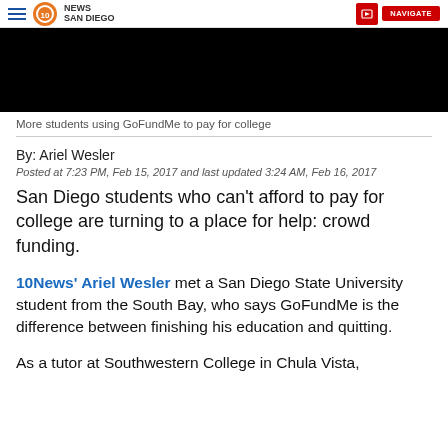10News San Diego
[Figure (screenshot): Black video player block]
More students using GoFundMe to pay for college
By: Ariel Wesler
Posted at 7:23 PM, Feb 15, 2017 and last updated 3:24 AM, Feb 16, 2017
San Diego students who can't afford to pay for college are turning to a place for help: crowd funding.
10News' Ariel Wesler met a San Diego State University student from the South Bay, who says GoFundMe is the difference between finishing his education and quitting.
As a tutor at Southwestern College in Chula Vista,